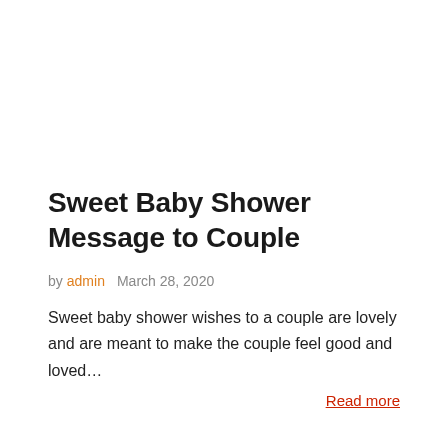Sweet Baby Shower Message to Couple
by admin   March 28, 2020
Sweet baby shower wishes to a couple are lovely and are meant to make the couple feel good and loved…
Read more